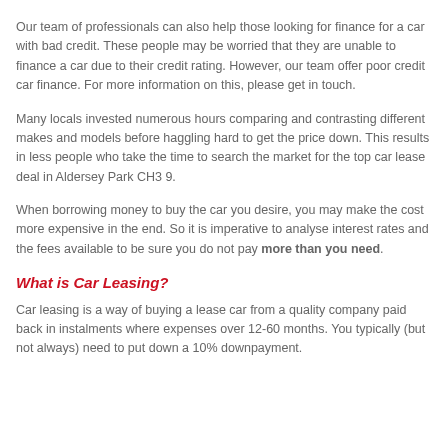Our team of professionals can also help those looking for finance for a car with bad credit. These people may be worried that they are unable to finance a car due to their credit rating. However, our team offer poor credit car finance. For more information on this, please get in touch.
Many locals invested numerous hours comparing and contrasting different makes and models before haggling hard to get the price down. This results in less people who take the time to search the market for the top car lease deal in Aldersey Park CH3 9.
When borrowing money to buy the car you desire, you may make the cost more expensive in the end. So it is imperative to analyse interest rates and the fees available to be sure you do not pay more than you need.
What is Car Leasing?
Car leasing is a way of buying a lease car from a quality company paid back in instalments where expenses over 12-60 months. You typically (but not always) need to put down a 10% downpayment.